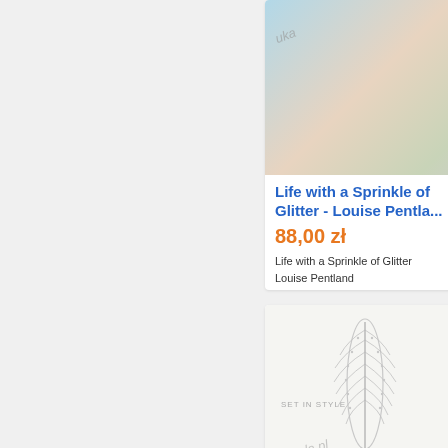[Figure (photo): Book product listing card for 'Life with a Sprinkle of Glitter' by Louise Pentland, showing book cover image at top with watermark, then title in blue, price in orange '88,00 zł', and book metadata]
Life with a Sprinkle of Glitter - Louise Pentla...
88,00 zł
Life with a Sprinkle of Glitter
Louise Pentland
Hardcover: 272 pages
Publisher: Simon & Schuster UK (2...
[Figure (photo): Book product listing card showing 'Set in Style: The Jewelry of Van Cleef & Arpels' book cover with feather brooch image and watermark]